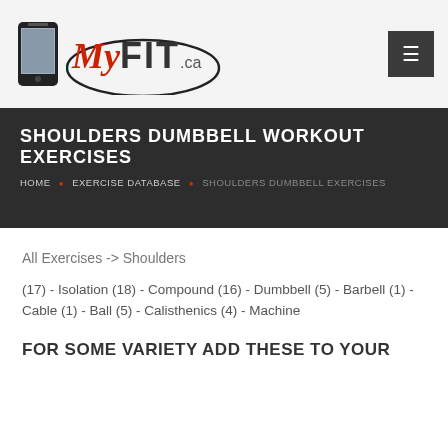MyFIT.ca [logo with phone image and menu button]
SHOULDERS DUMBBELL WORKOUT EXERCISES
HOME • EXERCISE DATABASE • SHOULDERS DUMBBELL EXERCISES
All Exercises -> Shoulders
(17) - Isolation (18) - Compound (16) - Dumbbell (5) - Barbell (1) - Cable (1) - Ball (5) - Calisthenics (4) - Machine
FOR SOME VARIETY ADD THESE TO YOUR